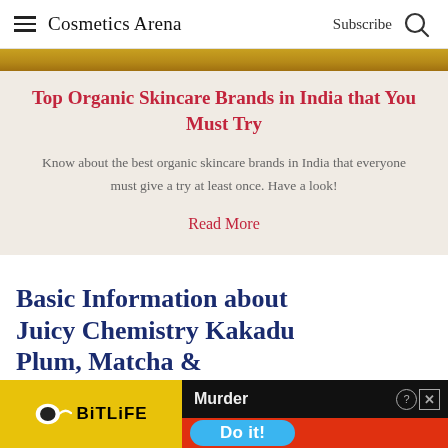Cosmetics Arena  Subscribe
Top Organic Skincare Brands in India that You Must Try
Know about the best organic skincare brands in India that everyone must give a try at least once. Have a look!
Read More
Basic Information about Juicy Chemistry Kakadu Plum, Matcha & Blood
[Figure (infographic): BitLife advertisement banner with yellow background on left showing sperm icon and BitLife text, black/red right side with 'Murder' text and 'Do it!' blue button]